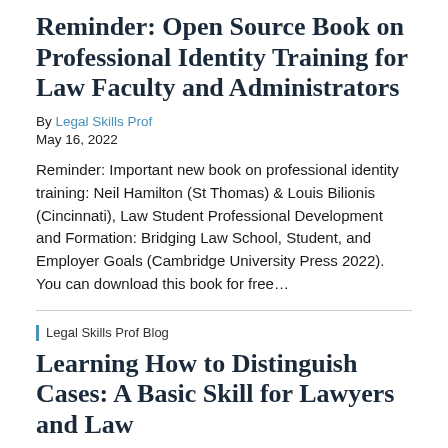Reminder: Open Source Book on Professional Identity Training for Law Faculty and Administrators
By Legal Skills Prof
May 16, 2022
Reminder: Important new book on professional identity training: Neil Hamilton (St Thomas) & Louis Bilionis (Cincinnati), Law Student Professional Development and Formation: Bridging Law School, Student, and Employer Goals (Cambridge University Press 2022). You can download this book for free...
Legal Skills Prof Blog
Learning How to Distinguish Cases: A Basic Skill for Lawyers and Law